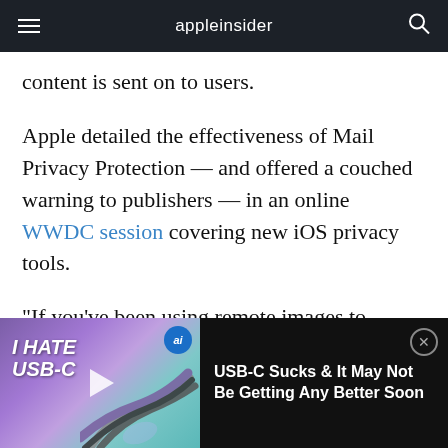appleinsider
content is sent on to users.
Apple detailed the effectiveness of Mail Privacy Protection — and offered a couched warning to publishers — in an online WWDC session covering new iOS privacy tools.
"If you've been using remote images to measure the impact of your campaigns, there are a few changes to be aware of. Since mail content may be loaded automatically after delivery, the tim…
[Figure (screenshot): Video thumbnail for 'I HATE USB-C' with cables image and play button overlay, with title 'USB-C Sucks & It May Not Be Getting Any Better Soon']